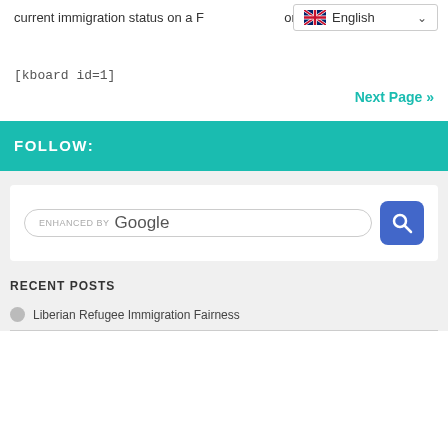current immigration status on a F...on.
[Figure (screenshot): Language selector dropdown showing UK flag and 'English' with a dropdown arrow]
[kboard id=1]
Next Page »
FOLLOW:
[Figure (screenshot): Enhanced by Google search bar with blue search button]
RECENT POSTS
Liberian Refugee Immigration Fairness